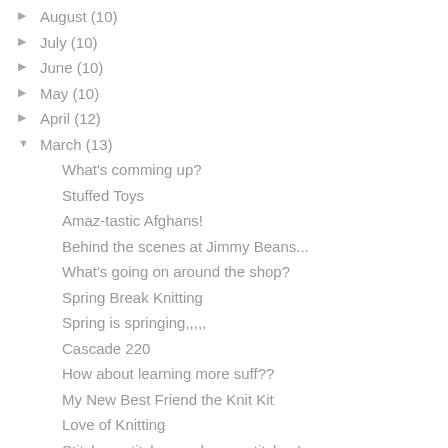▶ August (10)
▶ July (10)
▶ June (10)
▶ May (10)
▶ April (12)
▼ March (13)
What's comming up?
Stuffed Toys
Amaz-tastic Afghans!
Behind the scenes at Jimmy Beans...
What's going on around the shop?
Spring Break Knitting
Spring is springing,,,,,
Cascade 220
How about learning more suff??
My New Best Friend the Knit Kit
Love of Knitting
Stitches, stitches and more stitches!
Great New Stuff
▶ February (10)
▶ January (12)
▶ 2009 (120)